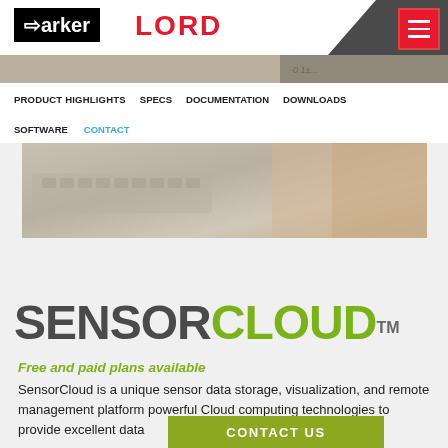Parker LORD
PRODUCT HIGHLIGHTS  SPECS  DOCUMENTATION  DOWNLOADS
SOFTWARE  CONTACT
[Figure (photo): Blurred photo of a keyboard with a person's hands in the background]
SENSORCLOUD™
Free and paid plans available
SensorCloud is a unique sensor data storage, visualization, and remote management platform powerful Cloud computing technologies to provide excellent data
CONTACT US